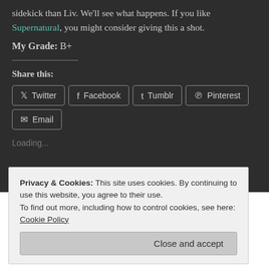sidekick than Liv. We'll see what happens. If you like Supernatural, you might consider giving this a shot.
My Grade: B+
Share this:
Twitter Facebook Tumblr Pinterest Email
Loading...
Privacy & Cookies: This site uses cookies. By continuing to use this website, you agree to their use. To find out more, including how to control cookies, see here: Cookie Policy
Close and accept